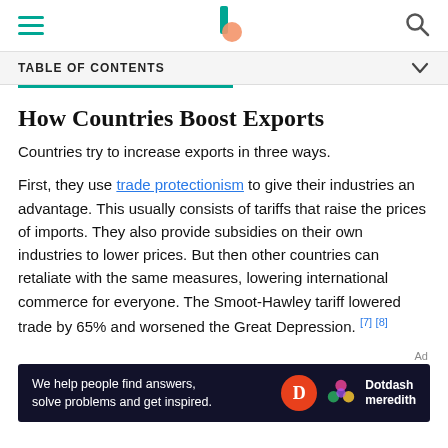Navigation bar with hamburger menu, Investopedia logo, and search icon
TABLE OF CONTENTS
How Countries Boost Exports
Countries try to increase exports in three ways.
First, they use trade protectionism to give their industries an advantage. This usually consists of tariffs that raise the prices of imports. They also provide subsidies on their own industries to lower prices. But then other countries can retaliate with the same measures, lowering international commerce for everyone. The Smoot-Hawley tariff lowered trade by 65% and worsened the Great Depression. [7] [8]
[Figure (other): Dotdash Meredith advertisement banner: 'We help people find answers, solve problems and get inspired.']